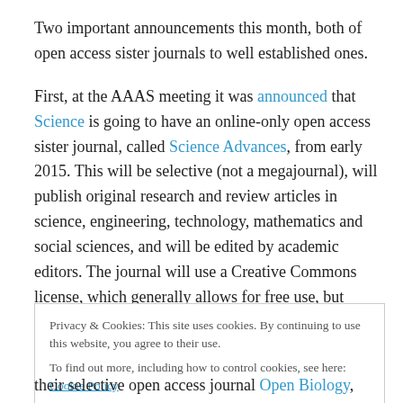Two important announcements this month, both of open access sister journals to well established ones.
First, at the AAAS meeting it was announced that Science is going to have an online-only open access sister journal, called Science Advances, from early 2015. This will be selective (not a megajournal), will publish original research and review articles in science, engineering, technology, mathematics and social sciences, and will be edited by academic editors. The journal will use a Creative Commons license, which generally allows for free use, but
Privacy & Cookies: This site uses cookies. By continuing to use this website, you agree to their use. To find out more, including how to control cookies, see here: Cookie Policy
their selective open access journal Open Biology, they will